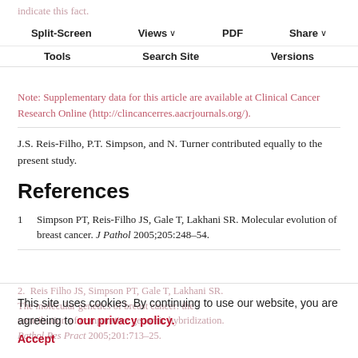indicate this fact.
Split-Screen | Views | PDF | Share | Tools | Search Site | Versions
Note: Supplementary data for this article are available at Clinical Cancer Research Online (http://clincancerres.aacrjournals.org/).
J.S. Reis-Filho, P.T. Simpson, and N. Turner contributed equally to the present study.
References
1  Simpson PT, Reis-Filho JS, Gale T, Lakhani SR. Molecular evolution of breast cancer. J Pathol 2005;205:248–54.
2.  Reis Filho JS, Simpson PT, Gale T, Lakhani SR. The molecular genetics of breast cancer: the contribution of comparative genomic hybridization. Pathol Res Pract 2005;201:713–25.
This site uses cookies. By continuing to use our website, you are agreeing to our privacy policy. Accept